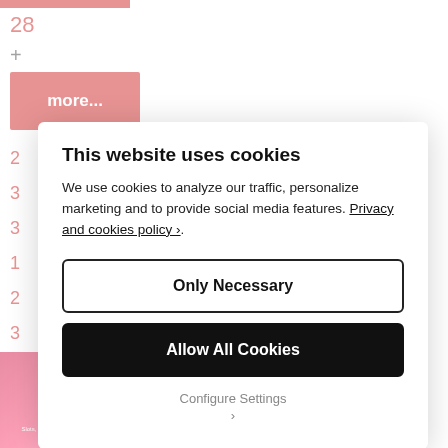28
+
more...
2
3
3
1
2
3
4
E
This website uses cookies
We use cookies to analyze our traffic, personalize marketing and to provide social media features. Privacy and cookies policy ›.
Only Necessary
Allow All Cookies
Configure Settings ›